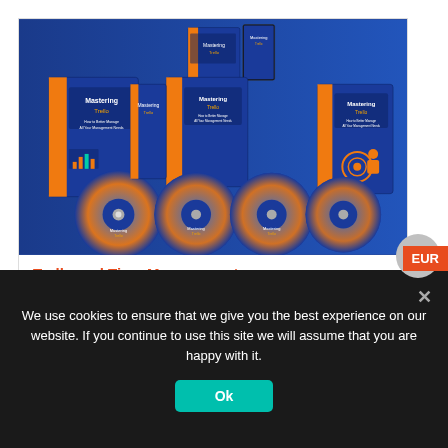[Figure (photo): Product bundle image showing multiple blue and orange DVD/software boxes and discs labeled 'Mastering Trello' Time Management course arranged in a display group]
Trello and Time Management
We use cookies to ensure that we give you the best experience on our website. If you continue to use this site we will assume that you are happy with it.